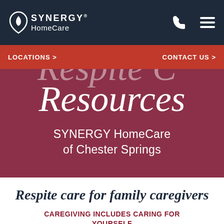[Figure (logo): SYNERGY HomeCare logo with heart/leaf icon in white on dark navy background]
LOCATIONS >    CONTACT US >
Respite Care Resources
SYNERGY HomeCare of Chester Springs
Respite care for family caregivers
CAREGIVING INCLUDES CARING FOR YOURSELF